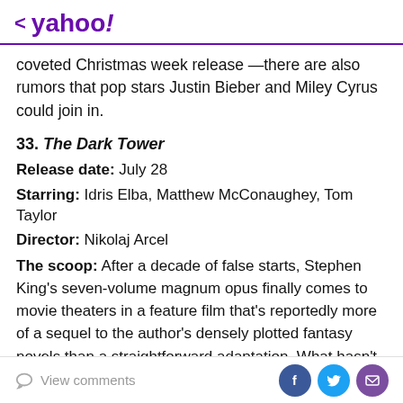< yahoo!
coveted Christmas week release —there are also rumors that pop stars Justin Bieber and Miley Cyrus could join in.
33. The Dark Tower
Release date: July 28
Starring: Idris Elba, Matthew McConaughey, Tom Taylor
Director: Nikolaj Arcel
The scoop: After a decade of false starts, Stephen King's seven-volume magnum opus finally comes to movie theaters in a feature film that's reportedly more of a sequel to the author's densely plotted fantasy novels than a straightforward adaptation. What hasn't changed is that the story still involves a man in black
View comments